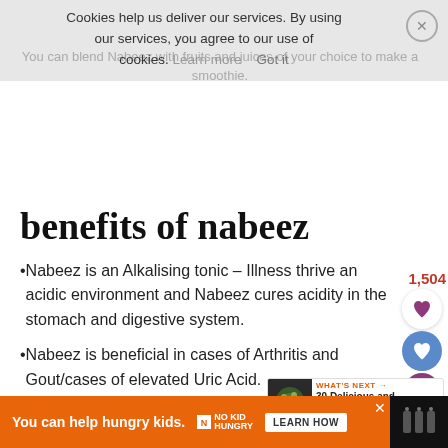Cookies help us deliver our services. By using our services, you agree to our use of cookies. Learn more  Got it
benefits of nabeez
Nabeez is an Alkalising tonic – Illness thrive an acidic environment and Nabeez cures acidity in the stomach and digestive system.
Nabeez is beneficial in cases of Arthritis and Gout/cases of elevated Uric Acid.
It removes other metabolic wastes from the
You can help hungry kids. NO KID HUNGRY LEARN HOW